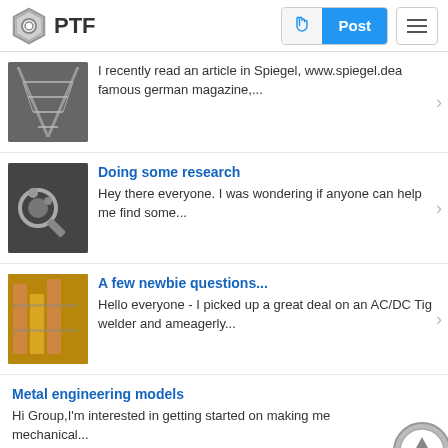PTF | Post
I recently read an article in Spiegel, www.spiegel.dea famous german magazine,...
Doing some research
Hey there everyone. I was wondering if anyone can help me find some...
A few newbie questions...
Hello everyone - I picked up a great deal on an AC/DC Tig welder and ameagerly...
Metal engineering models
Hi Group,I'm interested in getting started on making me mechanical...
What I have been doing
Going fast and getting broken...streetluge style. Here is a front pagestory...
Model engineering exhibittion